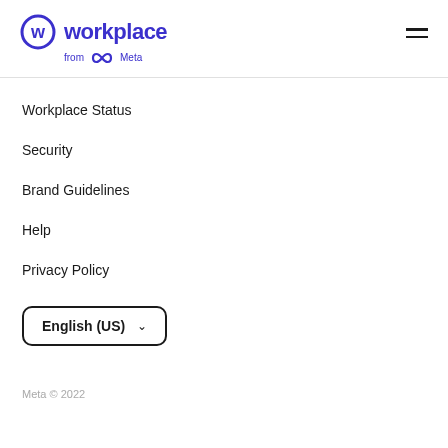workplace from Meta
Workplace Status
Security
Brand Guidelines
Help
Privacy Policy
English (US)
Meta © 2022